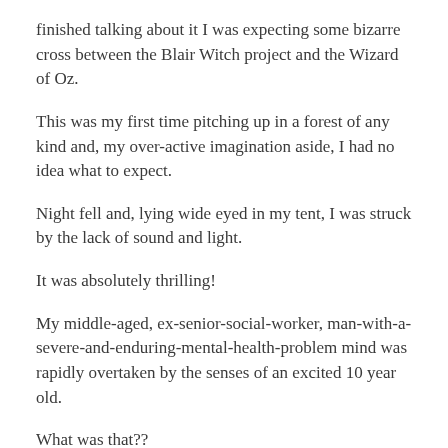finished talking about it I was expecting some bizarre cross between the Blair Witch project and the Wizard of Oz.
This was my first time pitching up in a forest of any kind and, my over-active imagination aside, I had no idea what to expect.
Night fell and, lying wide eyed in my tent, I was struck by the lack of sound and light.
It was absolutely thrilling!
My middle-aged, ex-senior-social-worker, man-with-a-severe-and-enduring-mental-health-problem mind was rapidly overtaken by the senses of an excited 10 year old.
What was that??
A rustle?